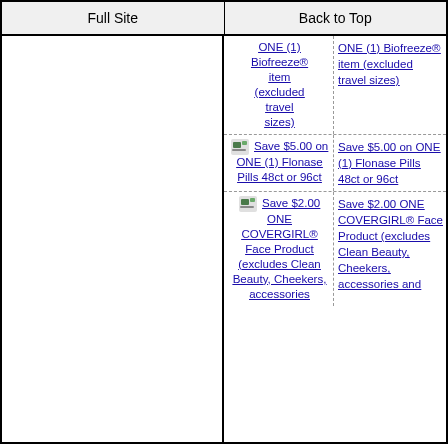Full Site | Back to Top
| Coupon | Description |
| --- | --- |
| ONE (1) Biofreeze® item (excluded travel sizes) | ONE (1) Biofreeze® item (excluded travel sizes) |
| Save $5.00 on ONE (1) Flonase Pills 48ct or 96ct | Save $5.00 on ONE (1) Flonase Pills 48ct or 96ct |
| Save $2.00 ONE COVERGIRL® Face Product (excludes Clean Beauty, Cheekers, accessories | Save $2.00 ONE COVERGIRL® Face Product (excludes Clean Beauty, Cheekers, accessories and |